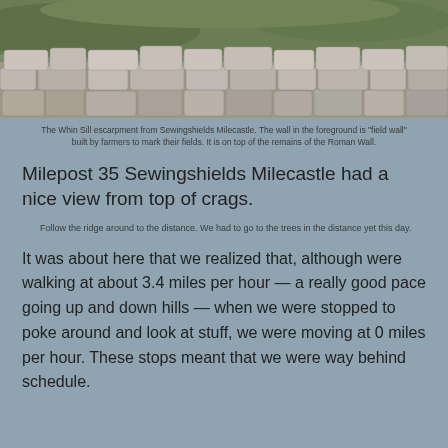[Figure (photo): Stone wall (field wall) on top of Whin Sill escarpment near Sewingshields Milecastle, with green hills in background]
The Whin Sill escarpment from Sewingshields Milecastle. The wall in the foreground is "field wall" built by farmers to mark their fields. It is on top of the remains of the Roman Wall.
Milepost 35 Sewingshields Milecastle had a nice view from top of crags.
Follow the ridge around to the distance. We had to go to the trees in the distance yet this day.
It was about here that we realized that, although were walking at about 3.4 miles per hour — a really good pace going up and down hills — when we were stopped to poke around and look at stuff, we were moving at 0 miles per hour. These stops meant that we were way behind schedule.